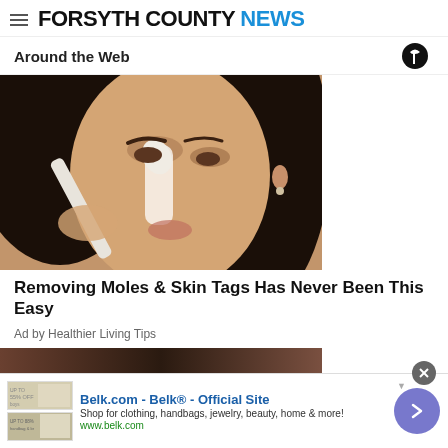FORSYTH COUNTY NEWS
Around the Web
[Figure (photo): Woman applying white cream or product to her nose with a brush, close-up beauty/skincare photo]
Removing Moles & Skin Tags Has Never Been This Easy
Ad by Healthier Living Tips
[Figure (photo): Partial second article image strip showing hair]
[Figure (screenshot): Belk.com advertisement banner: 'Belk.com - Belk® - Official Site. Shop for clothing, handbags, jewelry, beauty, home & more! www.belk.com']